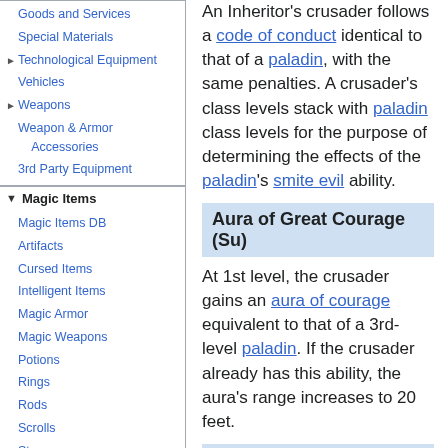Goods and Services
Special Materials
Technological Equipment
Vehicles
Weapons
Weapon & Armor Accessories
3rd Party Equipment
Magic Items
Magic Items DB
Artifacts
Cursed Items
Intelligent Items
Magic Armor
Magic Weapons
Potions
Rings
Rods
Scrolls
Staves
Sin Runes
Wands
Wondrous Items
Magic Items (3rd Party)
An Inheritor's crusader follows a code of conduct identical to that of a paladin, with the same penalties. A crusader's class levels stack with paladin class levels for the purpose of determining the effects of the paladin's smite evil ability.
Aura of Great Courage (Su)
At 1st level, the crusader gains an aura of courage equivalent to that of a 3rd-level paladin. If the crusader already has this ability, the aura's range increases to 20 feet.
Destroyer of Tyranny (Su)
At 2nd level, a crusader can